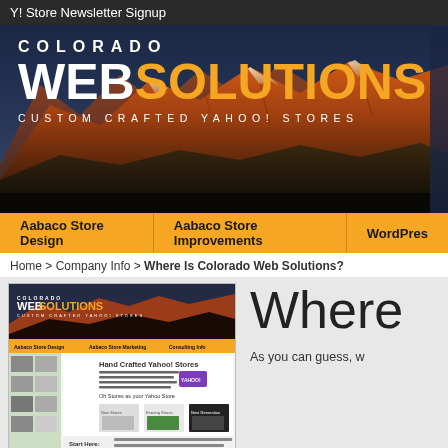Y! Store Newsletter Signup
[Figure (screenshot): Colorado Web Solutions website banner with mountain background, logo reading COLORADO WEB SOLUTIONS - CUSTOM CRAFTED YAHOO! STORES]
Aabaco Store Design  |  Aabaco Store Improvements  |  WordPress
Home > Company Info > Where Is Colorado Web Solutions?
[Figure (screenshot): Screenshot of Colorado Web Solutions website showing Hand Crafted Yahoo! Stores content with store examples and Start Here section]
Where
As you can guess, w